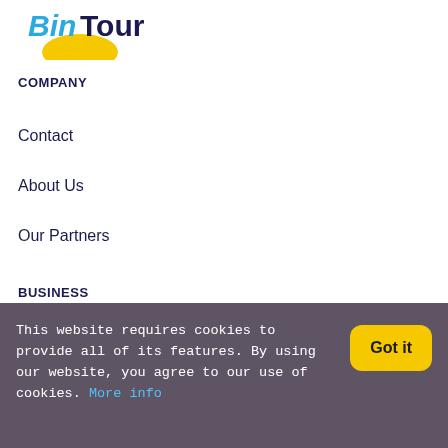[Figure (logo): BinTour logo with blue cursive 'Bin' text and bold dark blue 'Tour' text, with a yellow semicircle/sun shape beneath]
COMPANY
Contact
About Us
Our Partners
BUSINESS
Work with Us
This website requires cookies to provide all of its features. By using our website, you agree to our use of cookies. More info